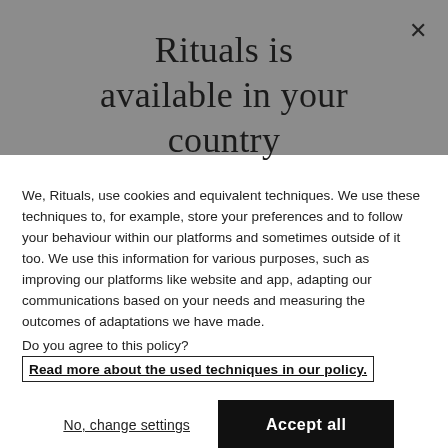Rituals is available in your country
We, Rituals, use cookies and equivalent techniques. We use these techniques to, for example, store your preferences and to follow your behaviour within our platforms and sometimes outside of it too. We use this information for various purposes, such as improving our platforms like website and app, adapting our communications based on your needs and measuring the outcomes of adaptations we have made.
Do you agree to this policy?
Read more about the used techniques in our policy.
No, change settings
Accept all